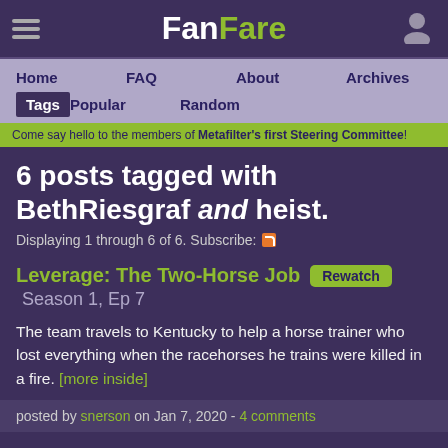FanFare
Home  FAQ  About  Archives
Tags  Popular  Random
Come say hello to the members of Metafilter's first Steering Committee!
6 posts tagged with BethRiesgraf and heist.
Displaying 1 through 6 of 6. Subscribe:
Leverage: The Two-Horse Job  Rewatch  Season 1, Ep 7
The team travels to Kentucky to help a horse trainer who lost everything when the racehorses he trains were killed in a fire. [more inside]
posted by snerson on Jan 7, 2020 - 4 comments